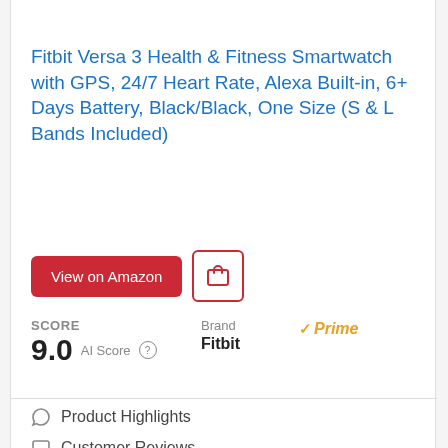Fitbit Versa 3 Health & Fitness Smartwatch with GPS, 24/7 Heart Rate, Alexa Built-in, 6+ Days Battery, Black/Black, One Size (S & L Bands Included)
View on Amazon
SCORE
9.0  AI Score
Brand
Fitbit
Prime
Product Highlights
Customer Reviews